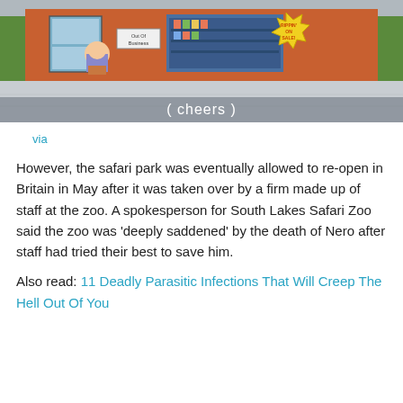[Figure (illustration): A South Park style cartoon scene showing a store front with an orange/brick wall, a door with windows, a character standing outside, signs in the window including 'Out Of Business', a yellow starburst sale sign, and a caption at the bottom reading '( cheers )']
via
However, the safari park was eventually allowed to re-open in Britain in May after it was taken over by a firm made up of staff at the zoo. A spokesperson for South Lakes Safari Zoo said the zoo was 'deeply saddened' by the death of Nero after staff had tried their best to save him.
Also read: 11 Deadly Parasitic Infections That Will Creep The Hell Out Of You